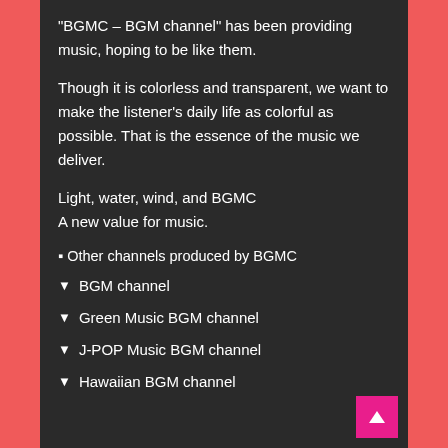“BGMC – BGM channel” has been providing music, hoping to be like them.
Though it is colorless and transparent, we want to make the listener’s daily life as colorful as possible. That is the essence of the music we deliver.
Light, water, wind, and BGMC
A new value for music.
■ Other channels produced by BGMC
▼ BGM channel
▼ Green Music BGM channel
▼ J-POP Music BGM channel
▼ Hawaiian BGM channel